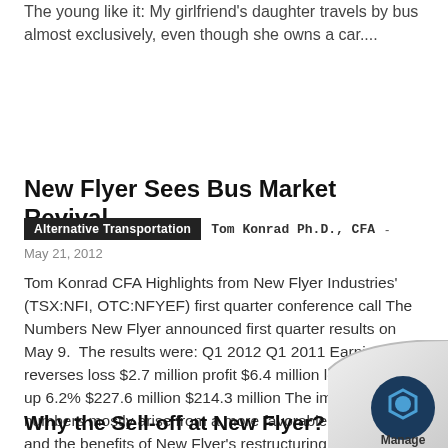The young like it: My girlfriend's daughter travels by bus almost exclusively, even though she owns a car....
New Flyer Sees Bus Market Revival
Alternative Transportation   Tom Konrad Ph.D., CFA -
May 21, 2012
Tom Konrad CFA Highlights from New Flyer Industries' (TSX:NFI, OTC:NFYEF) first quarter conference call The Numbers New Flyer announced first quarter results on May 9.  The results were: Q1 2012 Q1 2011 Earnings up; reverses loss $2.7 million profit $6.4 million loss Revenue up 6.2% $227.6 million $214.3 million The improved numbers mostly arise from a more favorable product mix, and the benefits of New Flyer's restructuring, which removed most of the debt burden.  The North American transit bus market remains very competitive, and this competition...
Why the Sell-off at New Flyer?